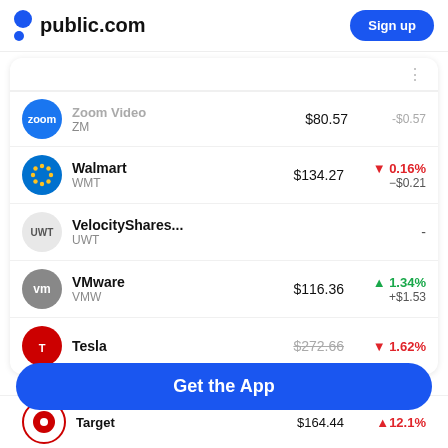public.com | Sign up
| Stock | Ticker | Price | Change |
| --- | --- | --- | --- |
| Zoom Video | ZM | $80.57 | -$0.57 |
| Walmart | WMT | $134.27 | ▼ 0.16% / -$0.21 |
| VelocityShares... | UWT | - | - |
| VMware | VMW | $116.36 | ▲ 1.34% / +$1.53 |
| Tesla | TSLA | $272.66 | ▼ 1.62% |
| Target |  | $164.44 | ▲12.1% |
Get the App